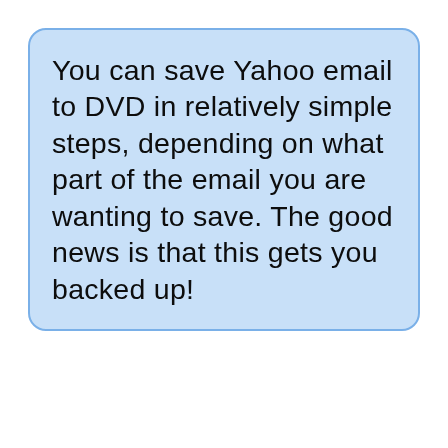You can save Yahoo email to DVD in relatively simple steps, depending on what part of the email you are wanting to save. The good news is that this gets you backed up!